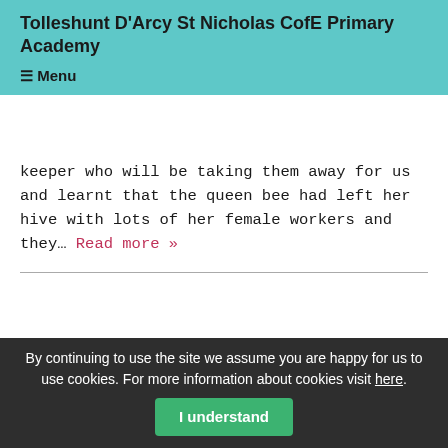Tolleshunt D'Arcy St Nicholas CofE Primary Academy
☰ Menu
keeper who will be taking them away for us and learnt that the queen bee had left her hive with lots of her female workers and they… Read more »
Year one homework
By continuing to use the site we assume you are happy for us to use cookies. For more information about cookies visit here. I understand